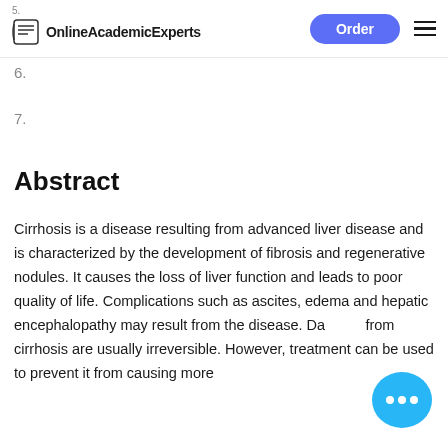OnlineAcademicExperts | Order
6.
7.
Abstract
Cirrhosis is a disease resulting from advanced liver disease and is characterized by the development of fibrosis and regenerative nodules. It causes the loss of liver function and leads to poor quality of life. Complications such as ascites, edema and hepatic encephalopathy may result from the disease. Damage from cirrhosis are usually irreversible. However, treatment can be used to prevent it from causing more